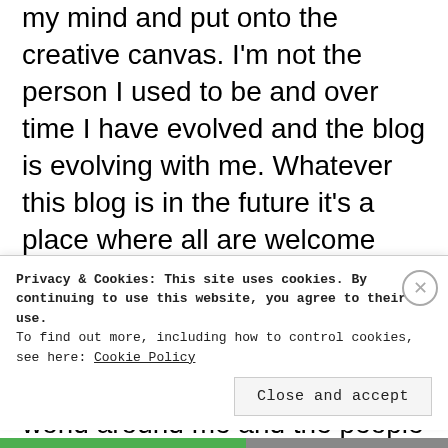my mind and put onto the creative canvas. I'm not the person I used to be and over time I have evolved and the blog is evolving with me. Whatever this blog is in the future it's a place where all are welcome and ideas can roam free to find their magical place in the universe. I'm an experimenter, explorer and fascinated by the world around me and the people in it. My exploration goes further than the known universe and expands out to universe's I've created in my mind and put onto the creative canvas.
Privacy & Cookies: This site uses cookies. By continuing to use this website, you agree to their use. To find out more, including how to control cookies, see here: Cookie Policy
Close and accept